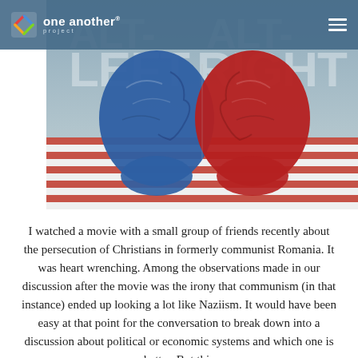one another project
[Figure (photo): Two crumpled paper heads facing each other — one blue (alt-left) and one red (alt-right) — set against an American flag background, symbolizing political division in the United States.]
I watched a movie with a small group of friends recently about the persecution of Christians in formerly communist Romania. It was heart wrenching. Among the observations made in our discussion after the movie was the irony that communism (in that instance) ended up looking a lot like Naziism. It would have been easy at that point for the conversation to break down into a discussion about political or economic systems and which one is better. But this